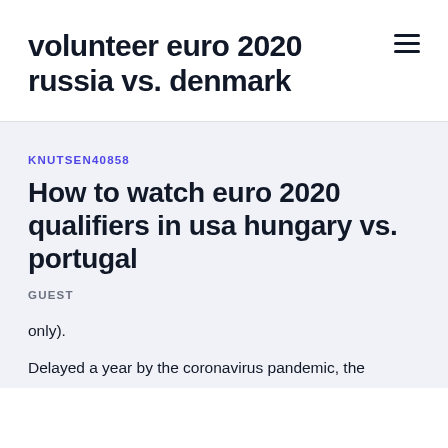volunteer euro 2020 russia vs. denmark
KNUTSEN40858
How to watch euro 2020 qualifiers in usa hungary vs. portugal
GUEST
only).
Delayed a year by the coronavirus pandemic, the